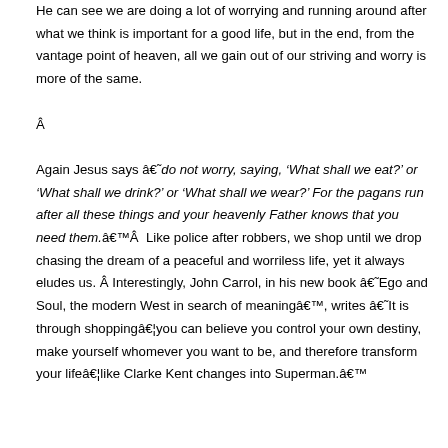He can see we are doing a lot of worrying and running around after what we think is important for a good life, but in the end, from the vantage point of heaven, all we gain out of our striving and worry is more of the same.

Â

Again Jesus says â€˜do not worry, saying, ‘What shall we eat?’ or ‘What shall we drink?’ or ‘What shall we wear?’ For the pagans run after all these things and your heavenly Father knows that you need them.â€™Â  Like police after robbers, we shop until we drop chasing the dream of a peaceful and worriless life, yet it always eludes us. Â Interestingly, John Carrol, in his new book â€˜Ego and Soul, the modern West in search of meaningâ€™, writes â€˜It is through shoppingâ€¦you can believe you control your own destiny, make yourself whomever you want to be, and therefore transform your lifeâ€¦like Clarke Kent changes into Superman.â€™